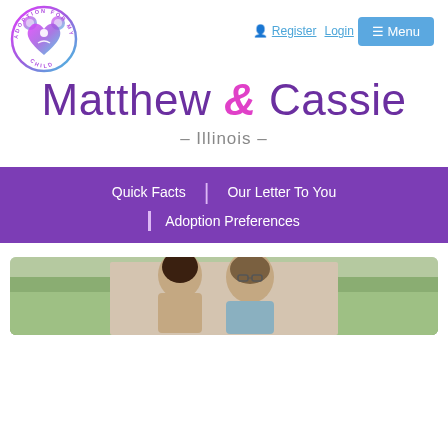Register  Login  ☰ Menu
Matthew & Cassie
– Illinois –
Quick Facts | Our Letter To You
Adoption Preferences
[Figure (photo): Photo of Matthew and Cassie, a couple smiling outdoors with green trees in the background.]